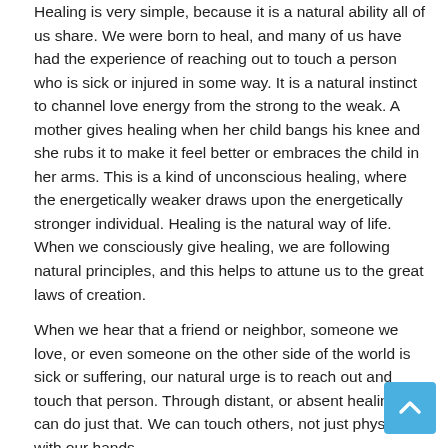Healing is very simple, because it is a natural ability all of us share. We were born to heal, and many of us have had the experience of reaching out to touch a person who is sick or injured in some way. It is a natural instinct to channel love energy from the strong to the weak. A mother gives healing when her child bangs his knee and she rubs it to make it feel better or embraces the child in her arms. This is a kind of unconscious healing, where the energetically weaker draws upon the energetically stronger individual. Healing is the natural way of life. When we consciously give healing, we are following natural principles, and this helps to attune us to the great laws of creation.
When we hear that a friend or neighbor, someone we love, or even someone on the other side of the world is sick or suffering, our natural urge is to reach out and touch that person. Through distant, or absent healing, we can do just that. We can touch others, not just physically with our hands,